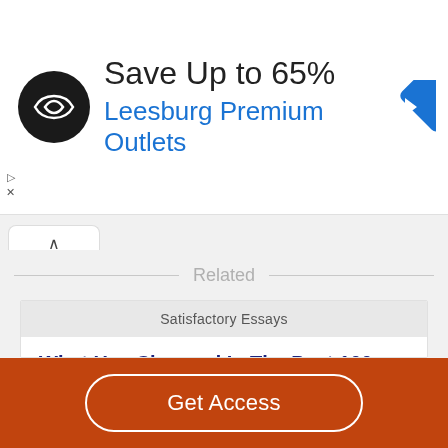[Figure (other): Advertisement banner: Save Up to 65% at Leesburg Premium Outlets with logo and navigation arrow icon]
Related
Satisfactory Essays
What Has Changed In The Past 100 Years
340 Words
2 Pages
past century. Today we have a lot of modern in technology
Get Access